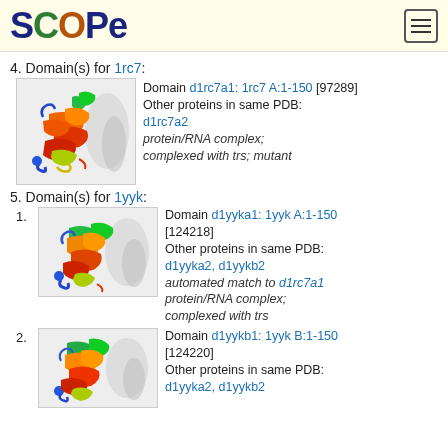SCOPe
4. Domain(s) for 1rc7:
[Figure (photo): Protein structure ribbon diagram for 1rc7, showing rainbow-colored helices and loops with a gray secondary chain]
Domain d1rc7a1: 1rc7 A:1-150 [97289] Other proteins in same PDB: d1rc7a2 protein/RNA complex; complexed with trs; mutant
5. Domain(s) for 1yyk:
1.
[Figure (photo): Protein structure ribbon diagram for 1yyk domain 1, showing rainbow-colored helices with gray secondary chain]
Domain d1yyka1: 1yyk A:1-150 [124218] Other proteins in same PDB: d1yyka2, d1yykb2 automated match to d1rc7a1 protein/RNA complex; complexed with trs
2.
[Figure (photo): Protein structure ribbon diagram for 1yyk domain 2, showing rainbow-colored helices with gray secondary chain]
Domain d1yykb1: 1yyk B:1-150 [124220] Other proteins in same PDB: d1yyka2, d1yykb2